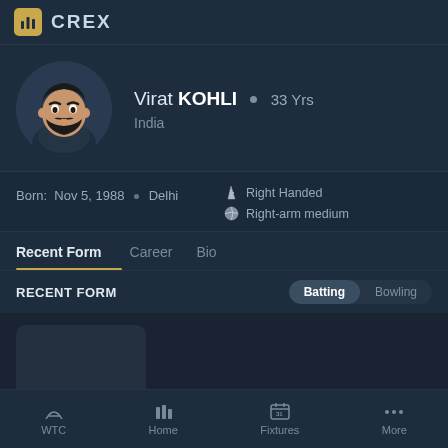CREX
Virat KOHLI • 33 Yrs
India
Born: Nov 5, 1988 • Delhi
Right Handed
Right-arm medium
Recent Form   Career   Bio
RECENT FORM
Batting   Bowling
WTC   Home   Fixtures   More